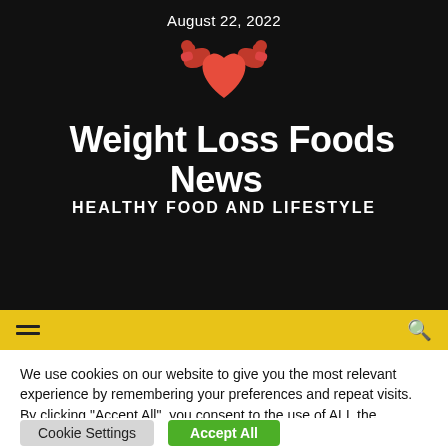August 22, 2022
[Figure (logo): Red muscular arms flexing over a red heart shape — fitness/health logo icon]
Weight Loss Foods News
HEALTHY FOOD AND LIFESTYLE
We use cookies on our website to give you the most relevant experience by remembering your preferences and repeat visits. By clicking "Accept All", you consent to the use of ALL the cookies. However, you may visit "Cookie Settings" to provide a controlled consent.
Cookie Settings | Accept All